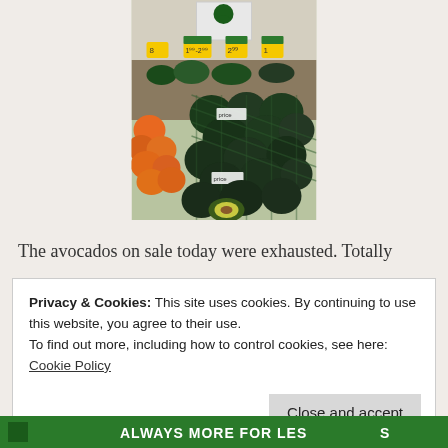[Figure (photo): Photo of a grocery store produce section showing avocados in green mesh netting in the foreground, oranges to the left, and various other produce and price signs in the background.]
The avocados on sale today were exhausted. Totally
Privacy & Cookies: This site uses cookies. By continuing to use this website, you agree to their use.
To find out more, including how to control cookies, see here: Cookie Policy
Close and accept
[Figure (photo): Bottom banner showing green background with white text: ALWAYS MORE FOR LESS]